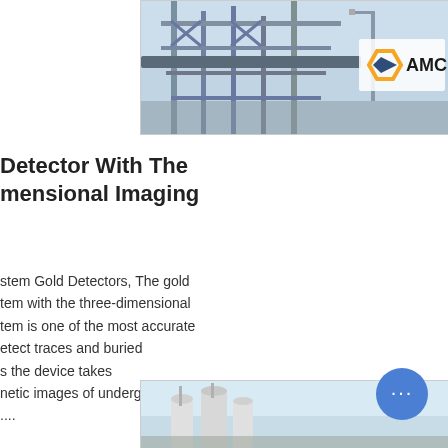[Figure (photo): Industrial steel conveyor structure with AMC logo in top right corner]
Detector With The Dimensional Imaging
stem Gold Detectors, The gold
tem with the three-dimensional
tem is one of the most accurate
etect traces and buried
s the device takes
netic images of underground
....
[Figure (photo): Industrial silos or tanks against a light blue sky, partially cropped at the bottom of the page]